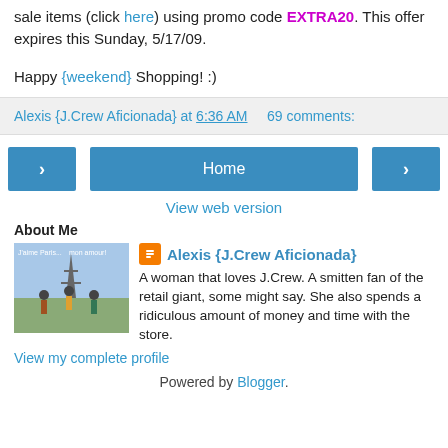sale items (click here) using promo code EXTRA20. This offer expires this Sunday, 5/17/09.
Happy {weekend} Shopping! :)
Alexis {J.Crew Aficionada} at 6:36 AM   69 comments:
< Home > View web version
About Me
Alexis {J.Crew Aficionada}
A woman that loves J.Crew. A smitten fan of the retail giant, some might say. She also spends a ridiculous amount of money and time with the store.
View my complete profile
Powered by Blogger.